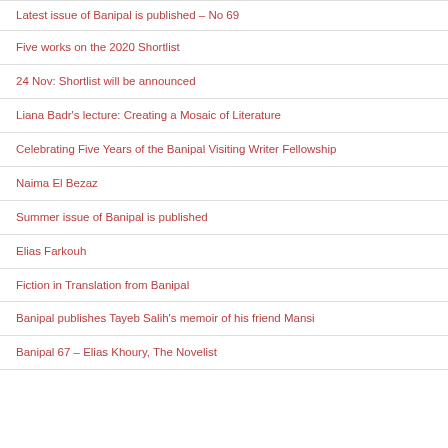Latest issue of Banipal is published – No 69
Five works on the 2020 Shortlist
24 Nov: Shortlist will be announced
Liana Badr's lecture: Creating a Mosaic of Literature
Celebrating Five Years of the Banipal Visiting Writer Fellowship
Naima El Bezaz
Summer issue of Banipal is published
Elias Farkouh
Fiction in Translation from Banipal
Banipal publishes Tayeb Salih's memoir of his friend Mansi
Banipal 67 – Elias Khoury, The Novelist